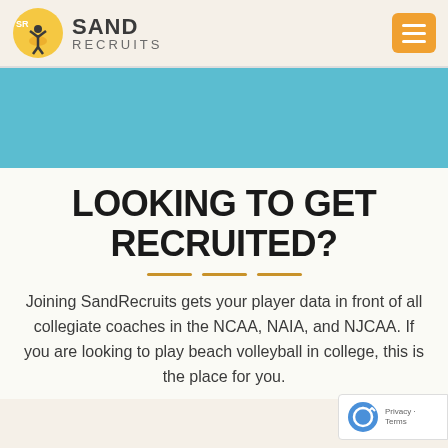Sand Recruits
[Figure (illustration): Teal/blue banner hero section]
LOOKING TO GET RECRUITED?
Joining SandRecruits gets your player data in front of all collegiate coaches in the NCAA, NAIA, and NJCAA. If you are looking to play beach volleyball in college, this is the place for you.